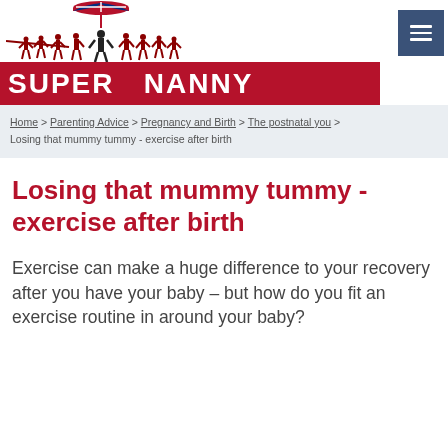[Figure (logo): Super Nanny website logo with silhouette figures under a Union Jack umbrella and red banner with white text SUPER NANNY]
Home > Parenting Advice > Pregnancy and Birth > The postnatal you > Losing that mummy tummy - exercise after birth
Losing that mummy tummy - exercise after birth
Exercise can make a huge difference to your recovery after you have your baby – but how do you fit an exercise routine in around your baby?